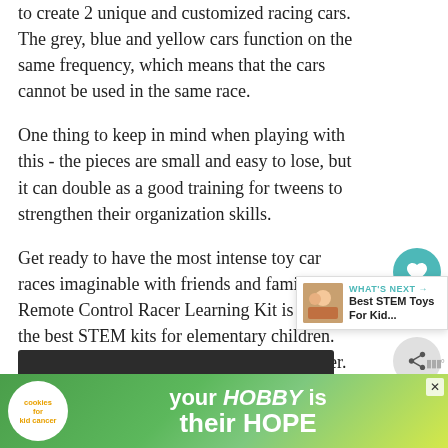to create 2 unique and customized racing cars. The grey, blue and yellow cars function on the same frequency, which means that the cars cannot be used in the same race.
One thing to keep in mind when playing with this - the pieces are small and easy to lose, but it can double as a good training for tweens to strengthen their organization skills.
Get ready to have the most intense toy car races imaginable with friends and family. This Remote Control Racer Learning Kit is one of the best STEM kits for elementary children. Just make sure to keep all the pieces together.
[Figure (other): Heart/like button (teal circle with heart icon), share count 3, and share button (grey circle with share icon) on right sidebar]
[Figure (infographic): What's Next panel showing a thumbnail image and text 'Best STEM Toys For Kid...']
[Figure (other): Dark content bar at the bottom of the article area]
[Figure (infographic): Advertisement banner: 'cookies for kid cancer' logo on left, tagline 'your HOBBY is their HOPE' in white on green gradient background, with close X button]